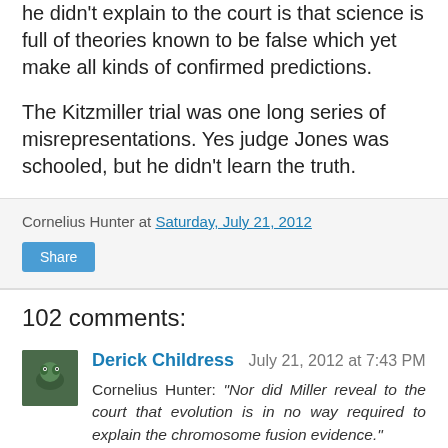he didn't explain to the court is that science is full of theories known to be false which yet make all kinds of confirmed predictions.
The Kitzmiller trial was one long series of misrepresentations. Yes judge Jones was schooled, but he didn't learn the truth.
Cornelius Hunter at Saturday, July 21, 2012
Share
102 comments:
Derick Childress  July 21, 2012 at 7:43 PM
Cornelius Hunter: "Nor did Miller reveal to the court that evolution is in no way required to explain the chromosome fusion evidence."
What is the ID explanation for the chromosome fusion evidence? Coincidence? Asking seriously.